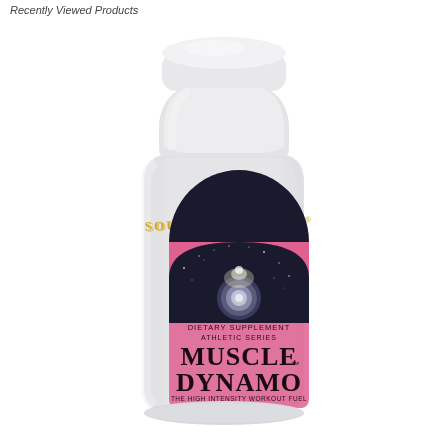Recently Viewed Products
[Figure (photo): White supplement bottle of Source Naturals Muscle Dynamo dietary supplement, Athletic Series, The High Intensity Workout Fuel, 30 Tablets. The label features a dark arched graphic with a glowing orb and a pink/magenta background. The brand name 'SOURCE NATURALS' appears in gold lettering on the bottle body.]